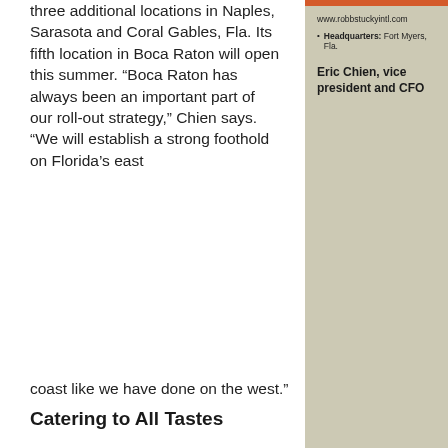three additional locations in Naples, Sarasota and Coral Gables, Fla. Its fifth location in Boca Raton will open this summer. “Boca Raton has always been an important part of our roll-out strategy,” Chien says. “We will establish a strong foothold on Florida’s east coast like we have done on the west.”
www.robbstuckyintl.com
Headquarters: Fort Myers, Fla.
Eric Chien, vice president and CFO
Catering to All Tastes